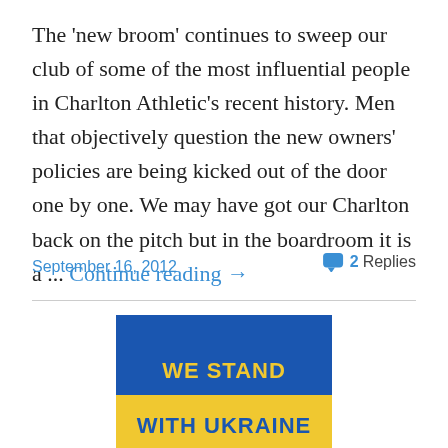The 'new broom' continues to sweep our club of some of the most influential people in Charlton Athletic's recent history. Men that objectively question the new owners' policies are being kicked out of the door one by one. We may have got our Charlton back on the pitch but in the boardroom it is a ... Continue reading →
September 16, 2012
2 Replies
[Figure (illustration): Ukraine solidarity banner — top half royal blue, bottom half yellow, with 'WE STAND WITH UKRAINE' text]